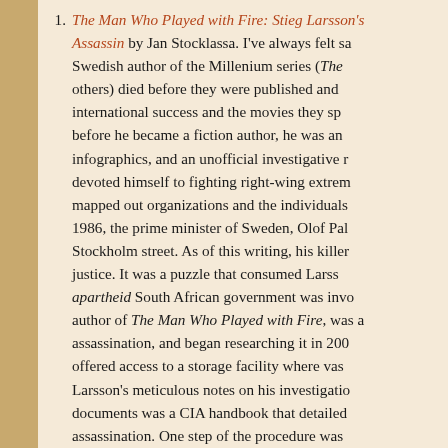The Man Who Played with Fire: Stieg Larsson's Assassin by Jan Stocklassa. I've always felt sa Swedish author of the Millenium series (The others) died before they were published and international success and the movies they sp before he became a fiction author, he was an infographics, and an unofficial investigative r devoted himself to fighting right-wing extrem mapped out organizations and the individuals 1986, the prime minister of Sweden, Olof Pal Stockholm street. As of this writing, his killer justice. It was a puzzle that consumed Larss apartheid South African government was invo author of The Man Who Played with Fire, was assassination, and began researching it in 200 offered access to a storage facility where vas Larsson's meticulous notes on his investigatio documents was a CIA handbook that detailed assassination. One step of the procedure was pull the trigger and who would have no conn were actually orchestrating the murder. This a person with mental or emotional issues. An followed internationally in covert operations. copies of his documents and memoranda to follow up on his leads. Stocklassa, however